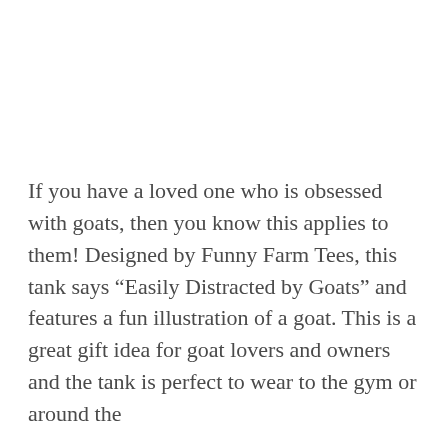If you have a loved one who is obsessed with goats, then you know this applies to them! Designed by Funny Farm Tees, this tank says “Easily Distracted by Goats” and features a fun illustration of a goat. This is a great gift idea for goat lovers and owners and the tank is perfect to wear to the gym or around the